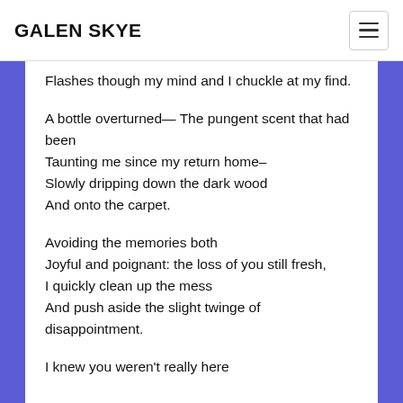GALEN SKYE
Flashes though my mind and I chuckle at my find.

A bottle overturned— The pungent scent that had been
Taunting me since my return home–
Slowly dripping down the dark wood
And onto the carpet.

Avoiding the memories both
Joyful and poignant: the loss of you still fresh,
I quickly clean up the mess
And push aside the slight twinge of disappointment.

I knew you weren't really here